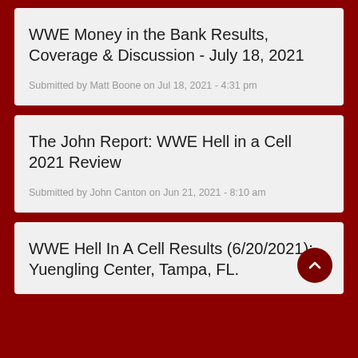WWE Money in the Bank Results, Coverage & Discussion - July 18, 2021
Submitted by Matt Boone on Jul 18, 2021 - 4:31 pm
The John Report: WWE Hell in a Cell 2021 Review
Submitted by John Canton on Jun 21, 2021 - 8:10 am
WWE Hell In A Cell Results (6/20/2021): Yuengling Center, Tampa, FL.